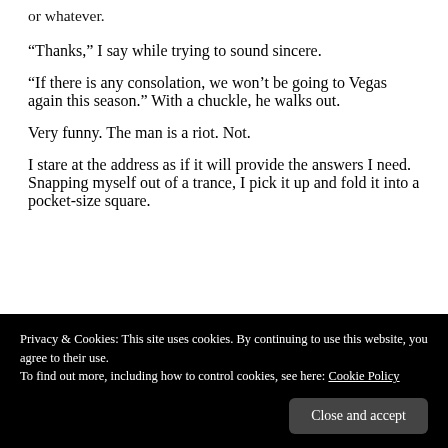or whatever.
“Thanks,” I say while trying to sound sincere.
“If there is any consolation, we won’t be going to Vegas again this season.” With a chuckle, he walks out.
Very funny. The man is a riot. Not.
I stare at the address as if it will provide the answers I need. Snapping myself out of a trance, I pick it up and fold it into a pocket-size square.
Privacy & Cookies: This site uses cookies. By continuing to use this website, you agree to their use.
To find out more, including how to control cookies, see here: Cookie Policy